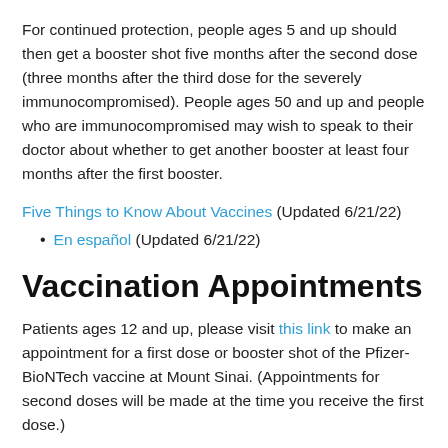For continued protection, people ages 5 and up should then get a booster shot five months after the second dose (three months after the third dose for the severely immunocompromised). People ages 50 and up and people who are immunocompromised may wish to speak to their doctor about whether to get another booster at least four months after the first booster.
Five Things to Know About Vaccines (Updated 6/21/22)
En español (Updated 6/21/22)
Vaccination Appointments
Patients ages 12 and up, please visit this link to make an appointment for a first dose or booster shot of the Pfizer-BioNTech vaccine at Mount Sinai. (Appointments for second doses will be made at the time you receive the first dose.)